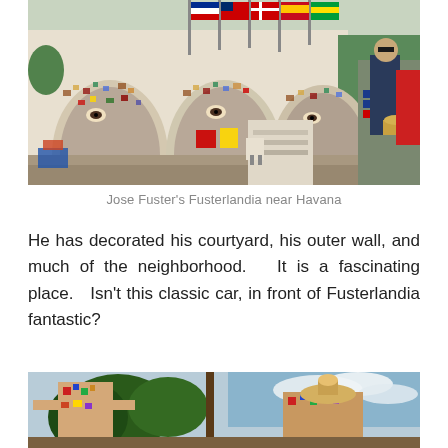[Figure (photo): Colorful mosaic wall art at Jose Fuster's Fusterlandia near Havana. Decorative mosaic figures with eyes and colorful patterns, flags of multiple countries visible above. People visible on the right side of the image.]
Jose Fuster's Fusterlandia near Havana
He has decorated his courtyard, his outer wall, and much of the neighborhood.   It is a fascinating place.   Isn't this classic car, in front of Fusterlandia fantastic?
[Figure (photo): Partial view of Fusterlandia artwork with mosaic figures, trees, and blue sky visible. Colorful mosaic sculptures and decorated structures visible.]